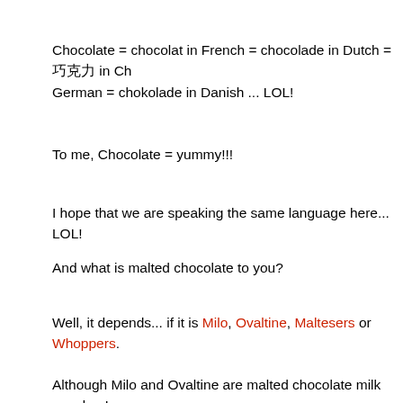Chocolate = chocolat in French = chocolade in Dutch = 巧克力 in Chinese = Schokolade in German = chokolade in Danish ... LOL!
To me, Chocolate = yummy!!!
I hope that we are speaking the same language here... LOL!
And what is malted chocolate to you?
Well, it depends... if it is Milo, Ovaltine, Maltesers or Whoppers.
Although Milo and Ovaltine are malted chocolate milk powder, I know what??? I'm actually team Milo. Please don't ask me why... I like it by inclination.
How about Maltesers or Whoppers? Although both are malted milk, they are significantly different in their taste and texture. Produced by Mars, Maltesers are sold in countries like United Kingdom, Ireland, Canada, France, Italy, Germany, the Middle East, Australia and Austria. In contrast, Whoppers are produced by The Hershey Company hence they are American Whoppers! Is this American vs the rest of world? Nay! I'm actually team Maltesers because I like the malted filling in Maltesers.